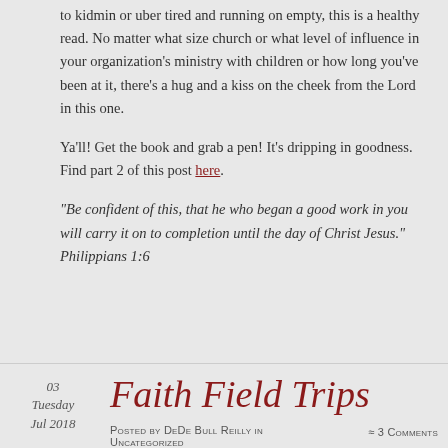to kidmin or uber tired and running on empty, this is a healthy read. No matter what size church or what level of influence in your organization's ministry with children or how long you've been at it, there's a hug and a kiss on the cheek from the Lord in this one.
Ya'll! Get the book and grab a pen! It's dripping in goodness. Find part 2 of this post here.
“Be confident of this, that he who began a good work in you will carry it on to completion until the day of Christ Jesus.” Philippians 1:6
Faith Field Trips
Posted by DeDe Bull Reilly in Uncategorized
≈ 3 Comments
03 Tuesday Jul 2018